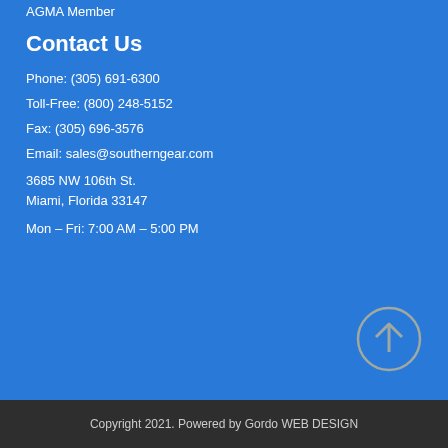AGMA Member
Contact Us
Phone: (305) 691-6300
Toll-Free: (800) 248-5152
Fax: (305) 696-3576
Email: sales@southerngear.com
3685 NW 106th St.
Miami, Florida 33147
Mon – Fri: 7:00 AM – 5:00 PM
[Figure (illustration): Circular up-arrow button with grey color on blue background]
Copyright 2021. Powered by Gordo WEB DESIGN